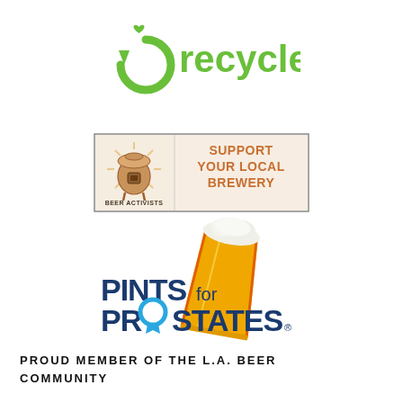[Figure (logo): Green recycle logo with heart symbol and the word 'recycle' in green text]
[Figure (logo): Beer Activists logo with an illustration of a brewing kettle on the left and 'SUPPORT YOUR LOCAL BREWERY' text on the right, framed in a box]
[Figure (logo): Pints for Prostates logo featuring an illustrated tilted beer cup with foam and yellow/orange beer, with bold text 'PINTS for PROSTATES' and a blue ribbon replacing the 'O' in PROSTATES]
PROUD MEMBER OF THE L.A. BEER COMMUNITY